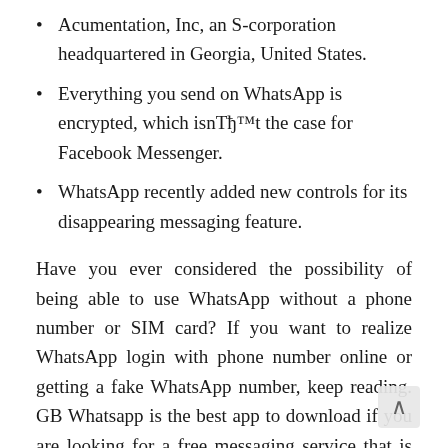Acumentation, Inc, an S-corporation headquartered in Georgia, United States.
Everything you send on WhatsApp is encrypted, which isnвЂ™t the case for Facebook Messenger.
WhatsApp recently added new controls for its disappearing messaging feature.
Have you ever considered the possibility of being able to use WhatsApp without a phone number or SIM card? If you want to realize WhatsApp login with phone number online or getting a fake WhatsApp number, keep reading. GB Whatsapp is the best app to download if you are looking for a free messaging service that is free of ads. This app has many useful features, including sending high-resolution pictures, a log history of all your contacts, and much more. It also allows you to change the language of your conversations to your